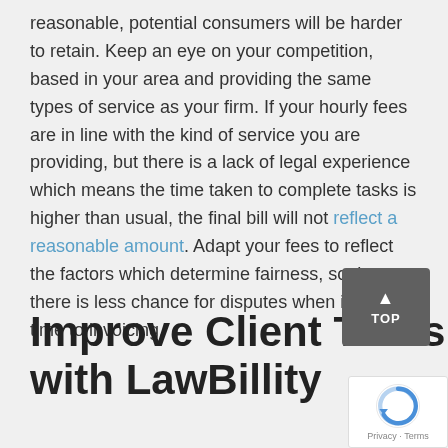reasonable, potential consumers will be harder to retain. Keep an eye on your competition, based in your area and providing the same types of service as your firm. If your hourly fees are in line with the kind of service you are providing, but there is a lack of legal experience which means the time taken to complete tasks is higher than usual, the final bill will not reflect a reasonable amount. Adapt your fees to reflect the factors which determine fairness, so that there is less chance for disputes when it comes time to invoicing.
Improve Client Transparency with LawBillity